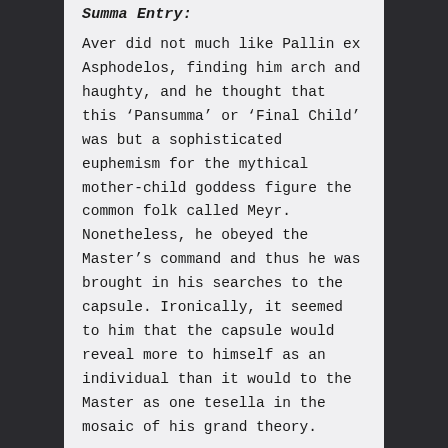Summa Entry:
Aver did not much like Pallin ex Asphodelos, finding him arch and haughty, and he thought that this ‘Pansumma’ or ‘Final Child’ was but a sophisticated euphemism for the mythical mother-child goddess figure the common folk called Meyr. Nonetheless, he obeyed the Master’s command and thus he was brought in his searches to the capsule. Ironically, it seemed to him that the capsule would reveal more to himself as an individual than it would to the Master as one tesella in the mosaic of his grand theory.
The capsule was outwardly ordinary, albeit opaque to any normal scan. In form it was